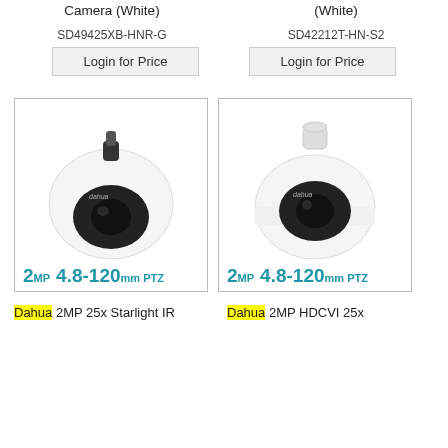Camera (White)
[White]
SD49425XB-HNR-G
Login for Price
SD42212T-HN-S2
Login for Price
[Figure (photo): Dahua PTZ dome camera, white, with black lens housing, ceiling mount style - left product]
[Figure (photo): Dahua PTZ dome camera, white, with black lens housing, pendant/wall mount style - right product]
2MP  4.8-120mm PTZ
2MP  4.8-120mm PTZ
Dahua 2MP 25x Starlight IR
Dahua 2MP HDCVI 25x